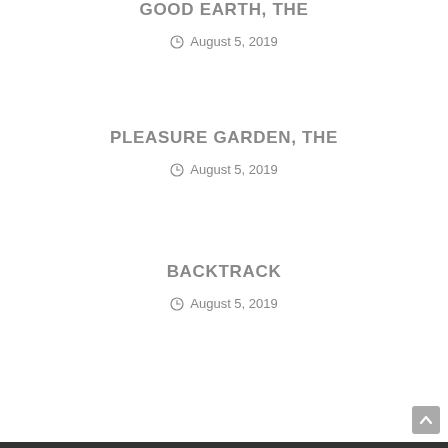GOOD EARTH, THE
August 5, 2019
PLEASURE GARDEN, THE
August 5, 2019
BACKTRACK
August 5, 2019